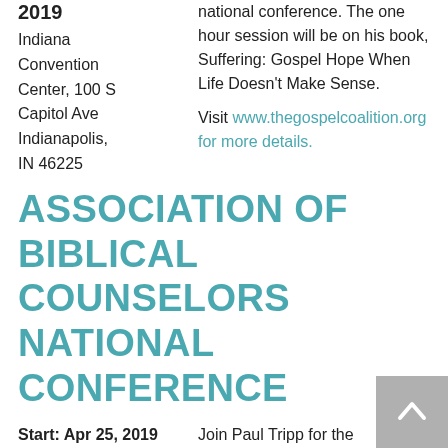2019
national conference. The one hour session will be on his book, Suffering: Gospel Hope When Life Doesn't Make Sense.
Indiana Convention Center, 100 S Capitol Ave Indianapolis, IN 46225
Visit www.thegospelcoalition.org for more details.
ASSOCIATION OF BIBLICAL COUNSELORS NATIONAL CONFERENCE
Start: Apr 25, 2019
End: Apr 29, 2019
Join Paul Tripp for the Association of Biblical Counselors 10th Anniversary national conference. More information will be made